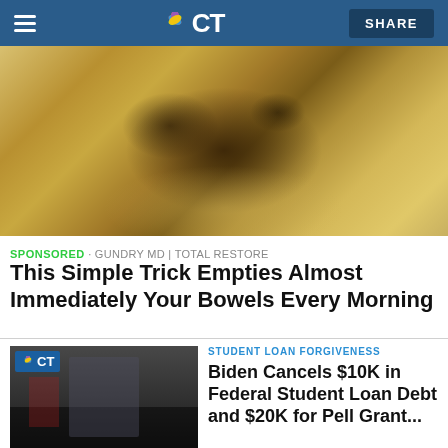NBC CT
[Figure (photo): Close-up food photo showing a translucent cracker or flatbread with ground spices/seasoning sprinkled on top, held over a bowl]
SPONSORED · GUNDRY MD | TOTAL RESTORE
This Simple Trick Empties Almost Immediately Your Bowels Every Morning
[Figure (photo): President Biden speaking at a podium with American flags in background, NBC CT logo overlay in top left corner]
STUDENT LOAN FORGIVENESS
Biden Cancels $10K in Federal Student Loan Debt and $20K for Pell Grant...